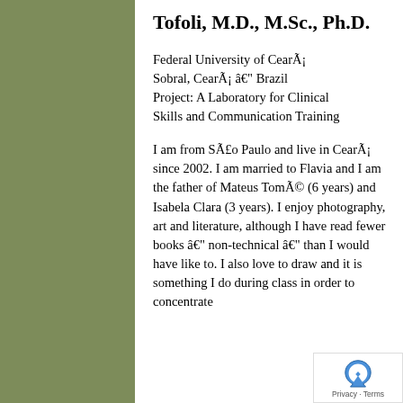Tofoli, M.D., M.Sc., Ph.D.
Federal University of Cearã¡ Sobral, Cearã¡ â€" Brazil Project: A Laboratory for Clinical Skills and Communication Training
I am from Sã£o Paulo and live in Cearã¡ since 2002. I am married to Flavia and I am the father of Mateus Tomã© (6 years) and Isabela Clara (3 years). I enjoy photography, art and literature, although I have read fewer books â€" non-technical â€" than I would have like to. I also love to draw and it is something I do during class in order to concentrate